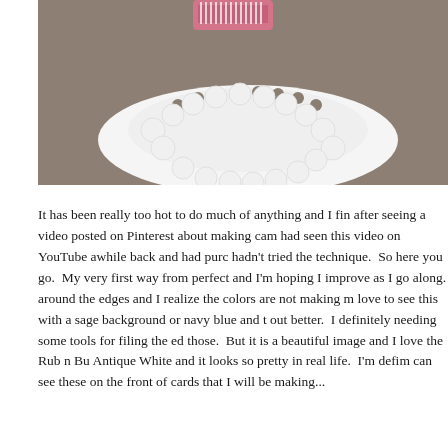[Figure (photo): Close-up photo of a white decorative doily with lace-like edges on a brown/tan background, with a pink ribbon or tape spool visible at the top.]
It has been really too hot to do much of anything and I fin after seeing a video posted on Pinterest about making cam had seen this video on YouTube awhile back and had purc hadn't tried the technique.  So here you go.  My very first way from perfect and I'm hoping I improve as I go along. around the edges and I realize the colors are not making m love to see this with a sage background or navy blue and t out better.  I definitely needing some tools for filing the ed those.  But it is a beautiful image and I love the Rub n Bu Antique White and it looks so pretty in real life.  I'm defim can see these on the front of cards that I will be making...